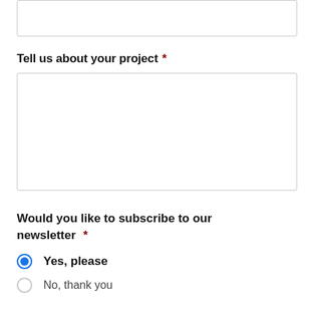[Figure (other): Empty text input box at top of page (partially visible)]
Tell us about your project *
[Figure (other): Large empty text area input box for project description]
Would you like to subscribe to our newsletter *
Yes, please (selected radio button)
No, thank you (unselected radio button)